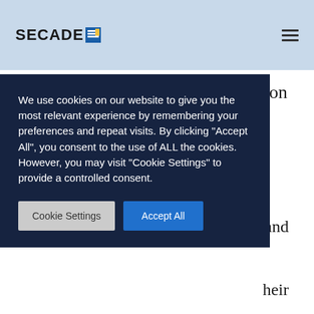SECADE [logo icon]
trailers – key tips and techniques on creating effective channel trailers
...ntial
We use cookies on our website to give you the most relevant experience by remembering your preferences and repeat visits. By clicking "Accept All", you consent to the use of ALL the cookies. However, you may visit "Cookie Settings" to provide a controlled consent.
nnel and
heir